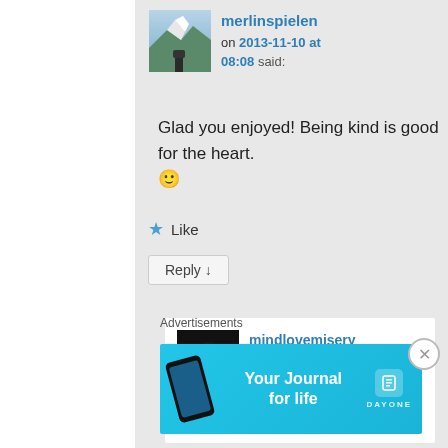[Figure (screenshot): Avatar thumbnail of merlinspielen showing mountain/lake landscape with a person]
merlinspielen on 2013-11-10 at 08:08 said:
Glad you enjoyed! Being kind is good for the heart. 🙂
★ Like
Reply ↓
[Figure (screenshot): Avatar thumbnail of mindlovemisery showing a dark close-up with a light/lens]
mindlovemisery on 2013-11-10 at 09:19 said:
Advertisements
[Figure (other): Day One app advertisement banner: Your Journal for life]